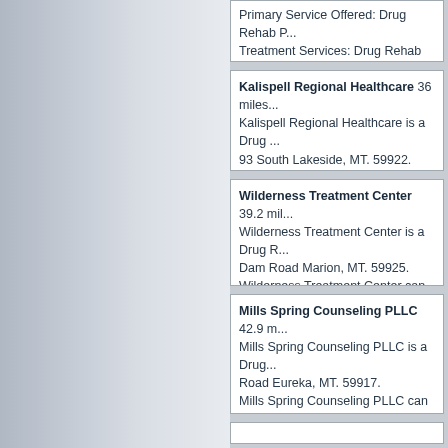Primary Service Offered: Drug Rehab P... Treatment Services: Drug Rehab Progra...
Kalispell Regional Healthcare 36 miles... Kalispell Regional Healthcare is a Drug... 93 South Lakeside, MT. 59922. Kalispell Regional Healthcare can be co... Primary Service Offered: Drug Rehabilit... Treatment Services: Mental Wellness Se... Diagnosis Patients, Lesbian and Gay Dr...
Wilderness Treatment Center 39.2 mil... Wilderness Treatment Center is a Drug R... Dam Road Marion, MT. 59925. Wilderness Treatment Center can be co... Primary Service Offered: Drug Rehabilit... Treatment Services: Drug Rehab Progra... Addiction, Residential Long-Term Treatm... Adolescents
Mills Spring Counseling PLLC 42.9 m... Mills Spring Counseling PLLC is a Drug... Road Eureka, MT. 59917. Mills Spring Counseling PLLC can be co... Primary Service Offered: Drug Treatmen... Treatment Services: Drug Rehab Progra... Addiction, Services for Teens and Adole... Drug Rehab for Seniors, Pregnant or ex... Services